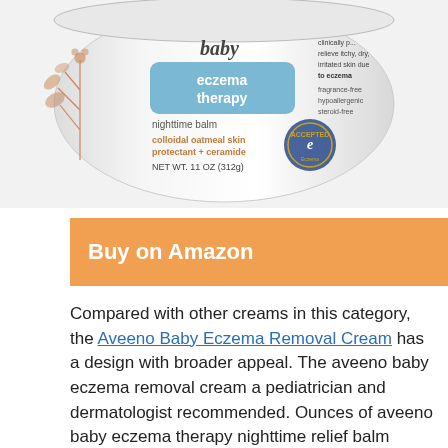[Figure (photo): Photo of Aveeno Baby eczema therapy nighttime balm jar — white jar with blue 'eczema therapy' label, colloidal oatmeal skin protectant + ceramide, NET WT. 11 OZ (312g), National Eczema Association accepted seal, botanical sprig illustration on the side.]
Buy on Amazon
Compared with other creams in this category, the Aveeno Baby Eczema Removal Cream has a design with broader appeal. The aveeno baby eczema removal cream a pediatrician and dermatologist recommended. Ounces of aveeno baby eczema therapy nighttime relief balm designed to help soothe your baby's dry, itchy & sensitive skin due to eczema without the greasy feeling. In addition, the cream is twice daily and